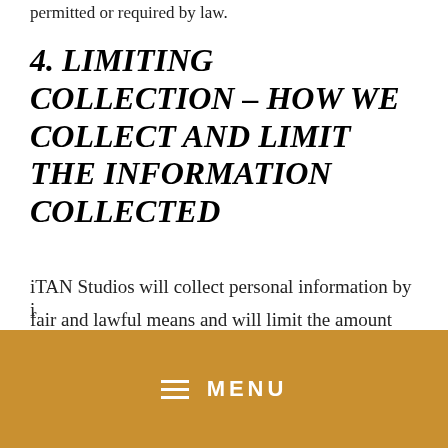permitted or required by law.
4. LIMITING COLLECTION – HOW WE COLLECT AND LIMIT THE INFORMATION COLLECTED
iTAN Studios will collect personal information by fair and lawful means and will limit the amount and type of information collected to that which is necessary to fulfil the purposes identified at the time of collection.
[Figure (other): Mobile navigation menu bar with gold/amber background showing three horizontal lines icon and MENU text in white]